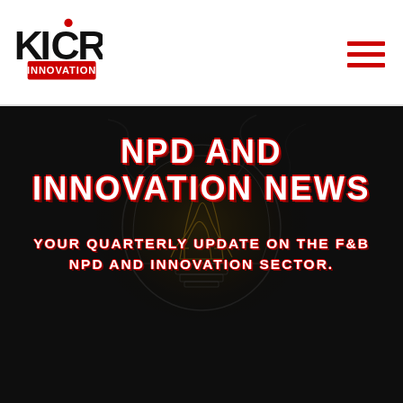KICR Innovation logo and navigation menu
[Figure (logo): KICR Innovation logo — black bold letters K I C R with a red dot above the C, and a red rectangle with white 'INNOVATION' text below]
NPD AND INNOVATION NEWS
YOUR QUARTERLY UPDATE ON THE F&B NPD AND INNOVATION SECTOR.